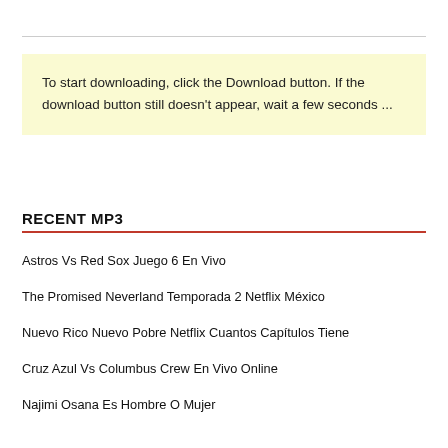To start downloading, click the Download button. If the download button still doesn't appear, wait a few seconds ...
RECENT MP3
Astros Vs Red Sox Juego 6 En Vivo
The Promised Neverland Temporada 2 Netflix México
Nuevo Rico Nuevo Pobre Netflix Cuantos Capítulos Tiene
Cruz Azul Vs Columbus Crew En Vivo Online
Najimi Osana Es Hombre O Mujer